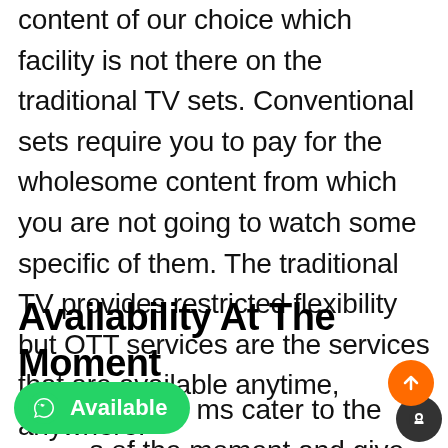content of our choice which facility is not there on the traditional TV sets. Conventional sets require you to pay for the wholesome content from which you are not going to watch some specific of them. The traditional TV provides restricted flexibility but OTT services are the services that are available anytime, anywhere.
Availability At The Moment
OTT platforms cater to the ...s of the moment and give viewers the opportunity to watch the